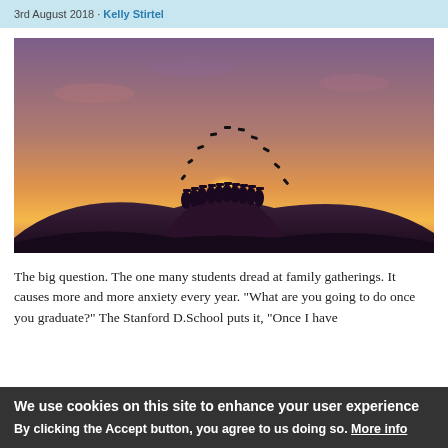3rd August 2018 · Kelly Stirtel
[Figure (photo): Silhouette of graduates on a hilltop at sunset, throwing their graduation caps in an arc against a purple and orange sky]
The big question. The one many students dread at family gatherings. It causes more and more anxiety every year. "What are you going to do once you graduate?" The Stanford D.School puts it, "Once I have
We use cookies on this site to enhance your user experience

By clicking the Accept button, you agree to us doing so. More info